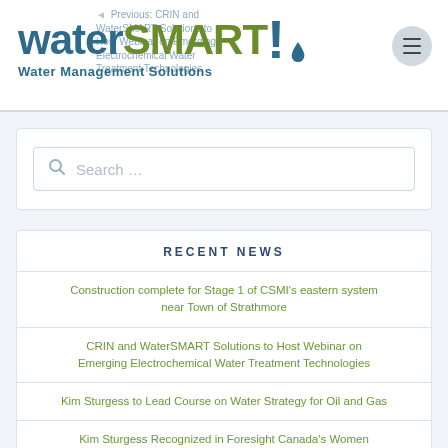waterSMART! Water Management Solutions
Previous: CRIN and WaterSMART Solutions to Host Webinar on Emerging Electrochemical Water Treatment Technologies
Search ...
RECENT NEWS
Construction complete for Stage 1 of CSMI's eastern system near Town of Strathmore
CRIN and WaterSMART Solutions to Host Webinar on Emerging Electrochemical Water Treatment Technologies
Kim Sturgess to Lead Course on Water Strategy for Oil and Gas
Kim Sturgess Recognized in Foresight Canada's Women